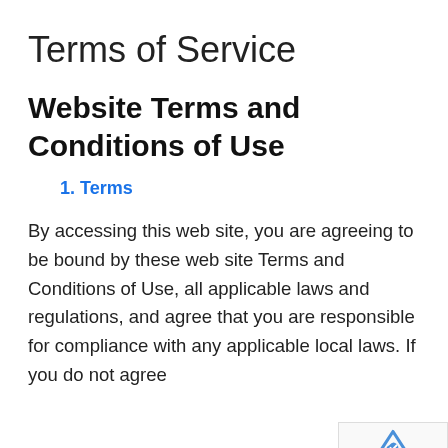Terms of Service
Website Terms and Conditions of Use
Terms
By accessing this web site, you are agreeing to be bound by these web site Terms and Conditions of Use, all applicable laws and regulations, and agree that you are responsible for compliance with any applicable local laws. If you do not agree